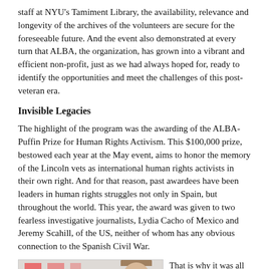staff at NYU's Tamiment Library, the availability, relevance and longevity of the archives of the volunteers are secure for the foreseeable future. And the event also demonstrated at every turn that ALBA, the organization, has grown into a vibrant and efficient non-profit, just as we had always hoped for, ready to identify the opportunities and meet the challenges of this post-veteran era.
Invisible Legacies
The highlight of the program was the awarding of the ALBA-Puffin Prize for Human Rights Activism. This $100,000 prize, bestowed each year at the May event, aims to honor the memory of the Lincoln vets as international human rights activists in their own right. And for that reason, past awardees have been leaders in human rights struggles not only in Spain, but throughout the world. This year, the award was given to two fearless investigative journalists, Lydia Cacho of Mexico and Jeremy Scahill, of the US, neither of whom has any obvious connection to the Spanish Civil War.
[Figure (photo): Three people looking at something together in a room with pink sticky notes on the wall behind them.]
That is why it was all the more striking to learn, during the course of the reunion program, that